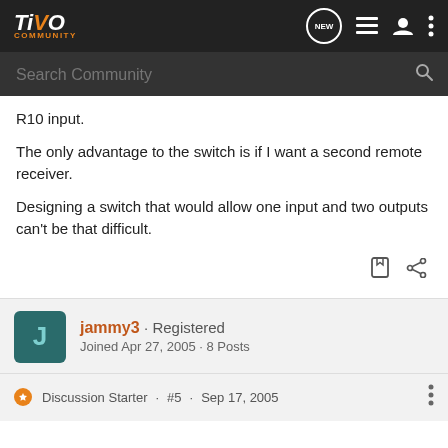[Figure (logo): TiVo Community logo with navigation icons and search bar]
R10 input.
The only advantage to the switch is if I want a second remote receiver.
Designing a switch that would allow one input and two outputs can't be that difficult.
jammy3 · Registered
Joined Apr 27, 2005 · 8 Posts
Discussion Starter · #5 · Sep 17, 2005